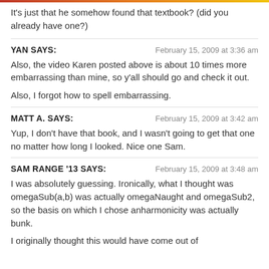It's just that he somehow found that textbook? (did you already have one?)
YAN SAYS:
February 15, 2009 at 3:36 am

Also, the video Karen posted above is about 10 times more embarrassing than mine, so y'all should go and check it out.

Also, I forgot how to spell embarrassing.
MATT A. SAYS:
February 15, 2009 at 3:42 am

Yup, I don't have that book, and I wasn't going to get that one no matter how long I looked. Nice one Sam.
SAM RANGE '13 SAYS:
February 15, 2009 at 3:48 am

I was absolutely guessing. Ironically, what I thought was omegaSub(a,b) was actually omegaNaught and omegaSub2, so the basis on which I chose anharmonicity was actually bunk.

I originally thought this would have come out of